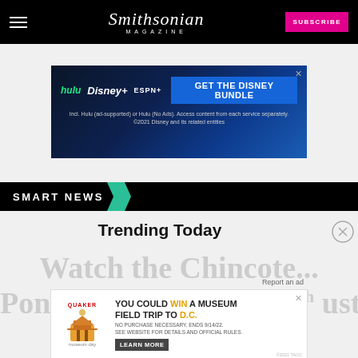Smithsonian Magazine — SUBSCRIBE
[Figure (screenshot): Disney Bundle advertisement banner with Hulu, Disney+, ESPN+ logos and 'GET THE DISNEY BUNDLE' call to action]
SMART NEWS
Trending Today
Watch the Chincoteague Pony Auction — the 96th Annual Swim
[Figure (screenshot): Quaker Museum Day advertisement: YOU COULD WIN A MUSEUM FIELD TRIP TO D.C. — LEARN MORE]